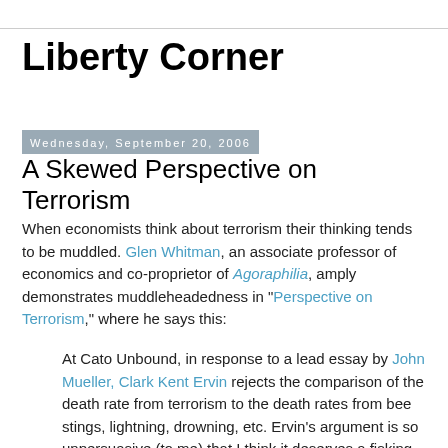Liberty Corner
Wednesday, September 20, 2006
A Skewed Perspective on Terrorism
When economists think about terrorism their thinking tends to be muddled. Glen Whitman, an associate professor of economics and co-proprietor of Agoraphilia, amply demonstrates muddleheadedness in "Perspective on Terrorism," where he says this:
At Cato Unbound, in response to a lead essay by John Mueller, Clark Kent Ervin rejects the comparison of the death rate from terrorism to the death rates from bee stings, lightning, drowning, etc. Ervin's argument is so unpersuasive (to me) that I think it deserves a fisking.